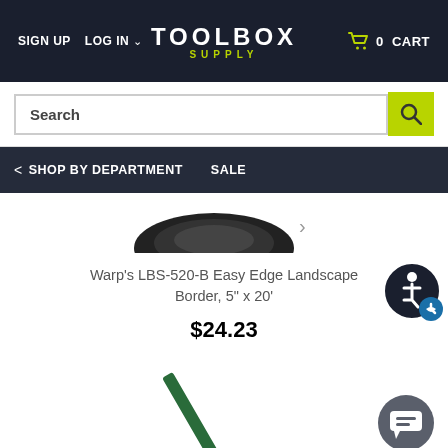SIGN UP  LOG IN  ∨   TOOLBOX SUPPLY   🛒 0 CART
Search
< SHOP BY DEPARTMENT   SALE
[Figure (photo): Partial view of a black landscape border product (rolled coil) from above, partially cropped at top]
Warp's LBS-520-B Easy Edge Landscape Border, 5" x 20'
$24.23
[Figure (photo): Partial view of a green landscape border or stake product, cropped at bottom of page]
[Figure (illustration): Accessibility icon: person in circle with wheelchair symbol, with a blue heart badge]
[Figure (illustration): Chat button: dark gray rounded square with speech bubble icon]